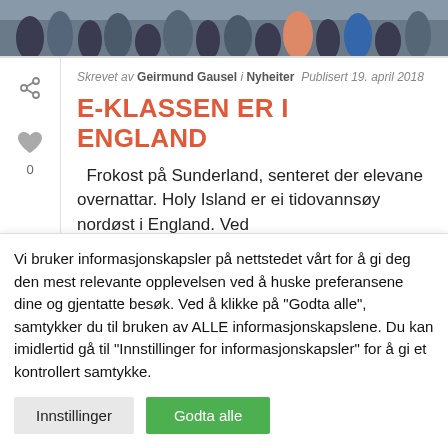[Figure (photo): Group photo of people at the top of the page, partially visible]
Skrevet av Geirmund Gausel i Nyheiter Publisert 19. april 2018
E-KLASSEN ER I ENGLAND
Frokost på Sunderland, senteret der elevane overnattar. Holy Island er ei tidovannsøy nordøst i England. Ved
Vi bruker informasjonskapsler på nettstedet vårt for å gi deg den mest relevante opplevelsen ved å huske preferansene dine og gjentatte besøk. Ved å klikke på "Godta alle", samtykker du til bruken av ALLE informasjonskapslene. Du kan imidlertid gå til "Innstillinger for informasjonskapsler" for å gi et kontrollert samtykke.
Innstillinger
Godta alle